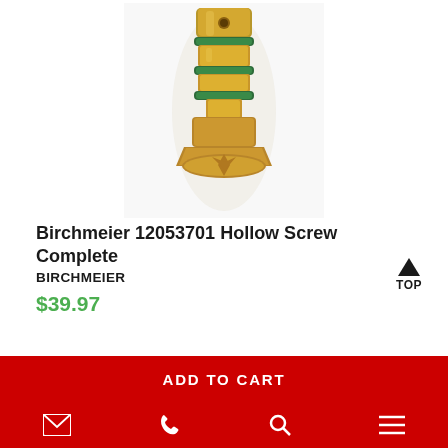[Figure (photo): Close-up photo of Birchmeier 12053701 Hollow Screw Complete — a brass/gold-colored cylindrical screw component with green O-rings and a star-drive tip, photographed against a white background.]
Birchmeier 12053701 Hollow Screw Complete
BIRCHMEIER
$39.97
ADD TO CART